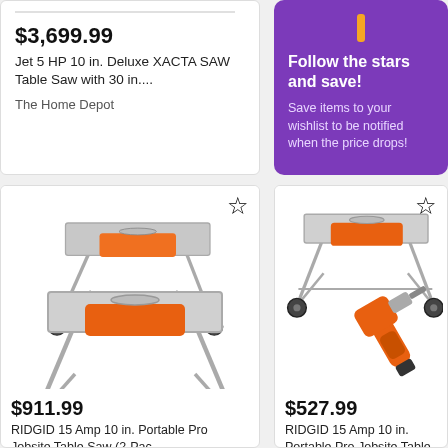$3,699.99
Jet 5 HP 10 in. Deluxe XACTA SAW Table Saw with 30 in....
The Home Depot
[Figure (infographic): Purple promotional box with orange stripe and star icons. Heading: Follow the stars and save! Body: Save items to your wishlist to be notified when the price drops!]
Follow the stars and save!
Save items to your wishlist to be notified when the price drops!
[Figure (photo): Two RIDGID orange and silver 10-inch portable jobsite table saws on wheeled stands, stacked visually.]
$911.99
RIDGID 15 Amp 10 in. Portable Pro Jobsite Table Saw (2-Pac...
[Figure (photo): RIDGID orange and silver 10-inch portable jobsite table saw on wheeled stand, with a cordless drill/driver in front.]
$527.99
RIDGID 15 Amp 10 in. Portable Pro Jobsite Table Saw with...